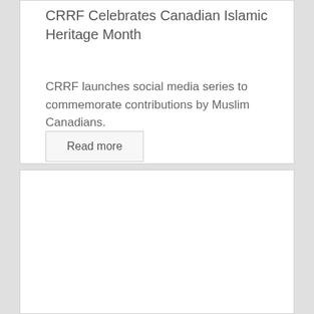CRRF Celebrates Canadian Islamic Heritage Month
CRRF launches social media series to commemorate contributions by Muslim Canadians.
Read more
[Figure (other): Empty white card section at the bottom of the page]